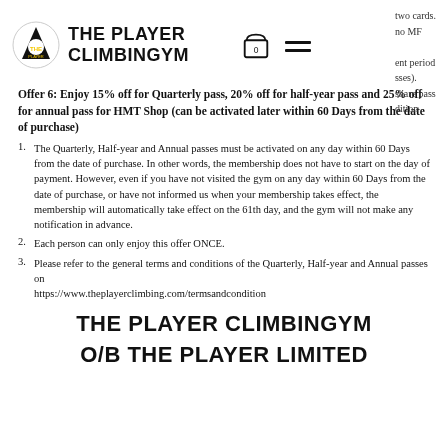THE PLAYER CLIMBINGYM
two cards. no MF ent period sses). share pass dition
Offer 6: Enjoy 15% off for Quarterly pass, 20% off for half-year pass and 25% off for annual pass for HMT Shop (can be activated later within 60 Days from the date of purchase)
The Quarterly, Half-year and Annual passes must be activated on any day within 60 Days from the date of purchase. In other words, the membership does not have to start on the day of payment. However, even if you have not visited the gym on any day within 60 Days from the date of purchase, or have not informed us when your membership takes effect, the membership will automatically take effect on the 61th day, and the gym will not make any notification in advance.
Each person can only enjoy this offer ONCE.
Please refer to the general terms and conditions of the Quarterly, Half-year and Annual passes on https://www.theplayerclimbing.com/termsandcondition
THE PLAYER CLIMBINGYM O/B THE PLAYER LIMITED